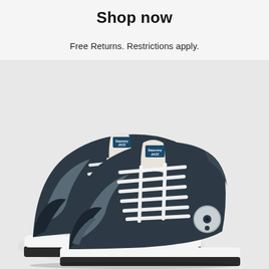Shop now
Free Returns. Restrictions apply.
[Figure (photo): Two Saucony Jazz sneakers in dark navy/grey colorway with white laces and white sole, photographed on a light grey background. Both shoes display the Saucony Jazz branding on the tongue.]